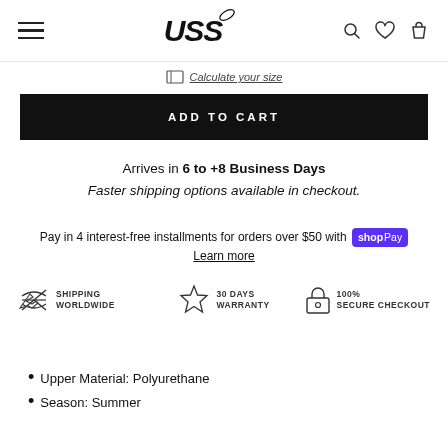USS logo, menu, search, wishlist, cart icons
Calculate your size
ADD TO CART
Arrives in 6 to +8 Business Days
Faster shipping options available in checkout.
Pay in 4 interest-free installments for orders over $50 with Shop Pay
Learn more
[Figure (infographic): Three trust badges: Shipping Worldwide (airplane icon), 30 Days Warranty (star badge icon), 100% Secure Checkout (lock icon)]
Upper Material: Polyurethane
Season: Summer